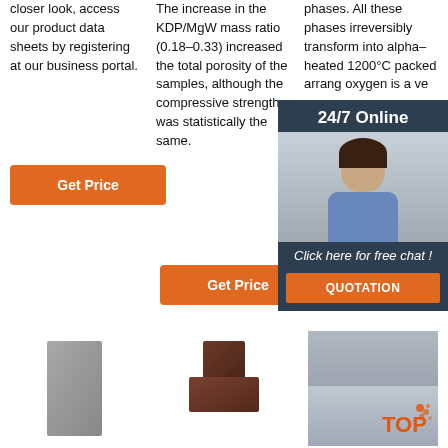closer look, access our product data sheets by registering at our business portal.
The increase in the KDP/MgW mass ratio (0.18–0.33) increased the total porosity of the samples, although the compressive strength was statistically the same.
phases. All these phases irreversibly transform into alpha– heated 1200°C packed arrang oxygen is a ve
[Figure (other): Get Price orange button in column 1]
[Figure (other): Get Price orange button in column 2]
[Figure (other): Get (partial) orange button in column 3, partially hidden by chat overlay]
[Figure (other): 24/7 Online chat overlay panel with woman wearing headset, dark blue background, 'Click here for free chat!' text, and QUOTATION orange button]
[Figure (photo): Gray rectangular refractory brick product image]
[Figure (photo): Brown T-shaped refractory brick product image]
[Figure (photo): Industrial facility or kiln interior photo with TOP logo overlay]